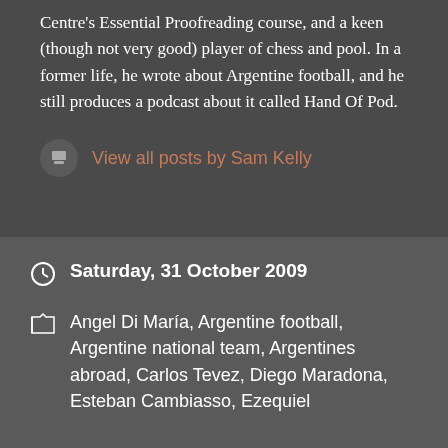Centre's Essential Proofreading course, and a keen (though not very good) player of chess and pool. In a former life, he wrote about Argentine football, and he still produces a podcast about it called Hand Of Pod.
View all posts by Sam Kelly
Saturday, 31 October 2009
Angel Di María, Argentine football, Argentine national team, Argentines abroad, Carlos Tevez, Diego Maradona, Esteban Cambiasso, Ezequiel
Advertisements
[Figure (screenshot): DuckDuckGo advertisement banner with orange background. Text reads: Search, browse, and email with more privacy. All in One Free App. Shows a phone with DuckDuckGo logo.]